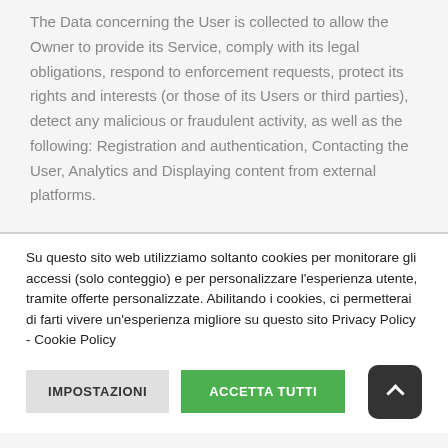The Data concerning the User is collected to allow the Owner to provide its Service, comply with its legal obligations, respond to enforcement requests, protect its rights and interests (or those of its Users or third parties), detect any malicious or fraudulent activity, as well as the following: Registration and authentication, Contacting the User, Analytics and Displaying content from external platforms.
Su questo sito web utilizziamo soltanto cookies per monitorare gli accessi (solo conteggio) e per personalizzare l'esperienza utente, tramite offerte personalizzate. Abilitando i cookies, ci permetterai di farti vivere un'esperienza migliore su questo sito Privacy Policy - Cookie Policy
IMPOSTAZIONI
ACCETTA TUTTI